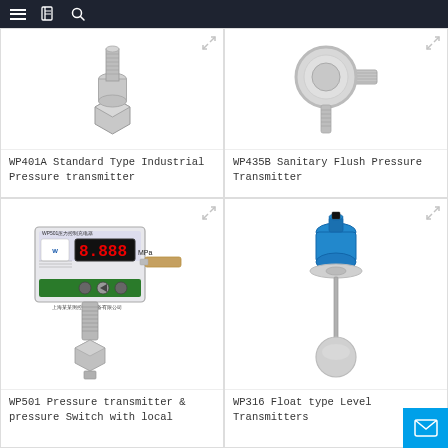Navigation bar with menu, catalog, and search icons
[Figure (photo): WP401A Standard Type Industrial Pressure Transmitter product photo - metal cylindrical sensor]
WP401A Standard Type Industrial Pressure transmitter
[Figure (photo): WP435B Sanitary Flush Pressure Transmitter product photo - round flush-mount sensor with pipe fitting]
WP435B Sanitary Flush Pressure Transmitter
[Figure (photo): WP501 Pressure transmitter and pressure Switch with local display - digital display unit with MPa readout]
WP501 Pressure transmitter & pressure Switch with local
[Figure (photo): WP316 Float type Level Transmitters product photo - blue sensor head with float ball on rod]
WP316 Float type Level Transmitters